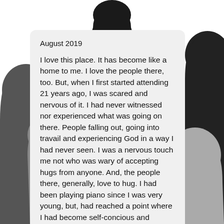[Figure (illustration): Silhouetted figures of people in black and gray tones forming a background scene around a message card. Partial human silhouettes visible on left and right sides and top of the image.]
August 2019
I love this place. It has become like a home to me. I love the people there, too. But, when I first started attending 21 years ago, I was scared and nervous of it. I had never witnessed nor experienced what was going on there. People falling out, going into travail and experiencing God in a way I had never seen. I was a nervous touch me not who was wary of accepting hugs from anyone. And, the people there, generally, love to hug. I had been playing piano since I was very young, but, had reached a point where I had become self-concious and nervous of playing in front of others. The same